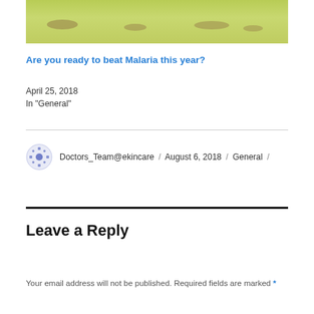[Figure (photo): Top portion of an article thumbnail showing a green grassy/pond scene with insects and brown pond patches]
Are you ready to beat Malaria this year?
April 25, 2018
In "General"
Doctors_Team@ekincare / August 6, 2018 / General /
Leave a Reply
Your email address will not be published. Required fields are marked *